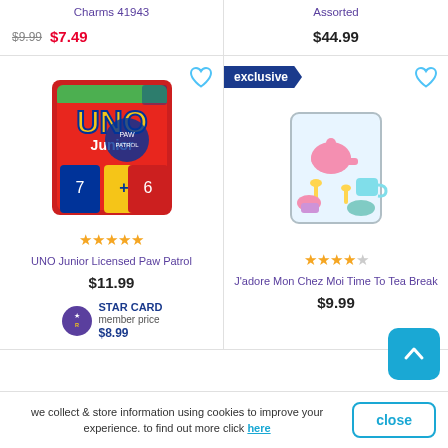Charms 41943
$9.99  $7.49
Assorted
$44.99
[Figure (photo): UNO Junior Licensed Paw Patrol card game box]
★★★★★
UNO Junior Licensed Paw Patrol
$11.99
STAR CARD member price $8.99
exclusive
[Figure (photo): J'adore Mon Chez Moi Time To Tea Break toy set in bag]
★★★★☆
J'adore Mon Chez Moi Time To Tea Break
$9.99
we collect & store information using cookies to improve your experience. to find out more click here
close